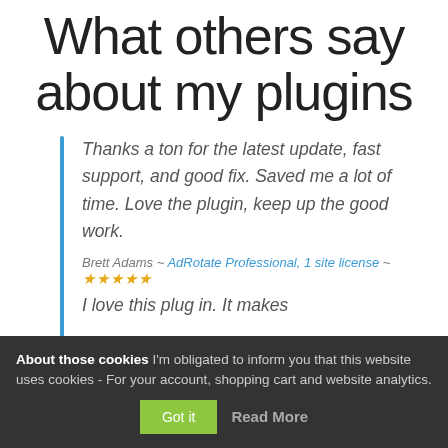What others say about my plugins
Thanks a ton for the latest update, fast support, and good fix. Saved me a lot of time. Love the plugin, keep up the good work.
Brett Adams ~ AdRotate Professional, 1 site license ~ ★★★★★
I love this plug in. It makes
About those cookies I'm obligated to inform you that this website uses cookies - For your account, shopping cart and website analytics. Got it  Read More